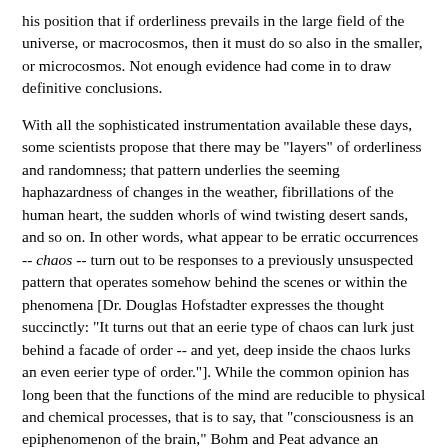his position that if orderliness prevails in the large field of the universe, or macrocosmos, then it must do so also in the smaller, or microcosmos. Not enough evidence had come in to draw definitive conclusions.
With all the sophisticated instrumentation available these days, some scientists propose that there may be "layers" of orderliness and randomness; that pattern underlies the seeming haphazardness of changes in the weather, fibrillations of the human heart, the sudden whorls of wind twisting desert sands, and so on. In other words, what appear to be erratic occurrences -- chaos -- turn out to be responses to a previously unsuspected pattern that operates somehow behind the scenes or within the phenomena [Dr. Douglas Hofstadter expresses the thought succinctly: "It turns out that an eerie type of chaos can lurk just behind a facade of order -- and yet, deep inside the chaos lurks an even eerier type of order."]. While the common opinion has long been that the functions of the mind are reducible to physical and chemical processes, that is to say, that "consciousness is an epiphenomenon of the brain," Bohm and Peat advance an alternative view:
the notion that reality is inexhaustible and whatever we say a thing is, it is something more and also something different. Hence, for example, if we say that consciousness is a material process, this may well